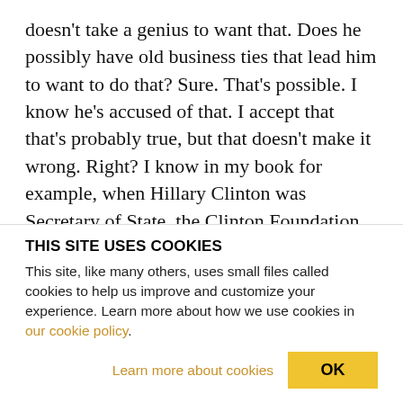doesn't take a genius to want that. Does he possibly have old business ties that lead him to want to do that? Sure. That's possible. I know he's accused of that. I accept that that's probably true, but that doesn't make it wrong. Right? I know in my book for example, when Hillary Clinton was Secretary of State, the Clinton Foundation accepted millions of dollars of donations from Saudi Arabia. She then turned around and helped approve some military sales to Saudi Arabia. Again, people aren't concerned about those types of ties. Everyone has ties. Once
THIS SITE USES COOKIES
This site, like many others, uses small files called cookies to help us improve and customize your experience. Learn more about how we use cookies in our cookie policy.
Learn more about cookies   OK